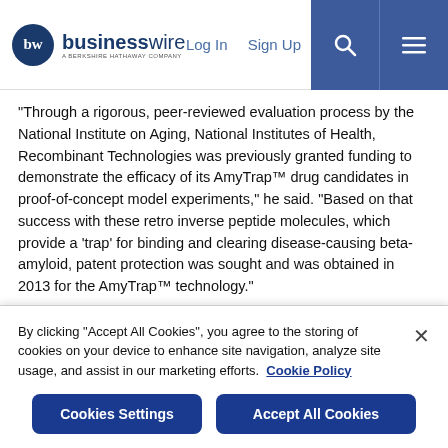businesswire — A BERKSHIRE HATHAWAY COMPANY | Log In | Sign Up
“Through a rigorous, peer-reviewed evaluation process by the National Institute on Aging, National Institutes of Health, Recombinant Technologies was previously granted funding to demonstrate the efficacy of its AmyTrap™ drug candidates in proof-of-concept model experiments,” he said. “Based on that success with these retro inverse peptide molecules, which provide a ‘trap’ for binding and clearing disease-causing beta-amyloid, patent protection was sought and was obtained in 2013 for the AmyTrap™ technology.”
Partnership enabling Alzheimer’s disease drug development
By clicking “Accept All Cookies”, you agree to the storing of cookies on your device to enhance site navigation, analyze site usage, and assist in our marketing efforts.  Cookie Policy
Cookies Settings | Accept All Cookies